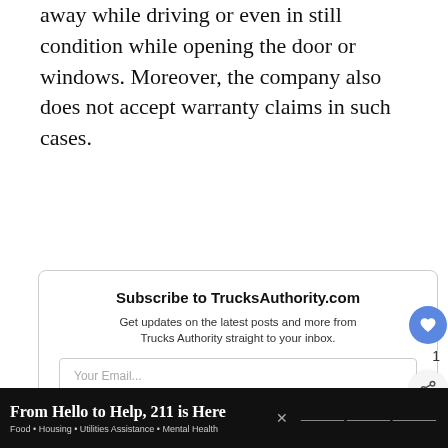away while driving or even in still condition while opening the door or windows. Moreover, the company also does not accept warranty claims in such cases.
Subscribe to TrucksAuthority.com
Get updates on the latest posts and more from Trucks Authority straight to your inbox.
Your Email...
SUBSCRIBE
I consent to receiving emails and personalized ads.
WHAT'S NEXT → Do Trailer Wind...
From Hello to Help, 211 is Here
Food • Housing • Utilities Assistance • Mental Health